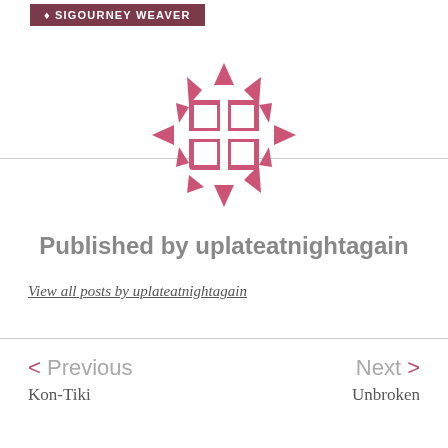SIGOURNEY WEAVER
[Figure (logo): Pink decorative logo icon made of triangles and squares arranged in a circular pattern]
Published by uplateatnightagain
View all posts by uplateatnightagain
< Previous
Kon-Tiki
Next >
Unbroken